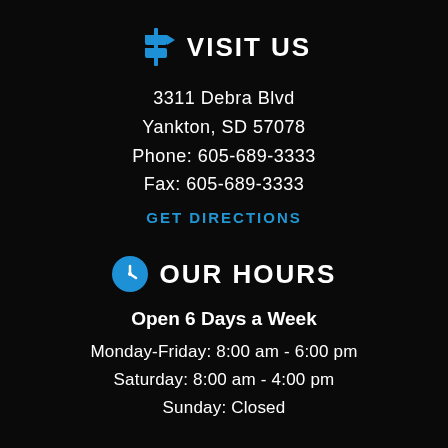VISIT US
3311 Debra Blvd
Yankton, SD 57078
Phone: 605-689-3333
Fax: 605-689-3333
GET DIRECTIONS
OUR HOURS
Open 6 Days a Week
Monday-Friday: 8:00 am - 6:00 pm
Saturday: 8:00 am - 4:00 pm
Sunday: Closed